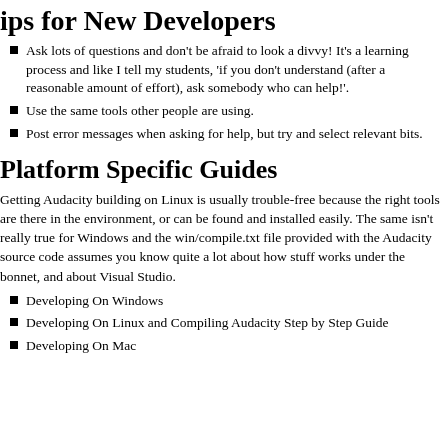Tips for New Developers
Ask lots of questions and don't be afraid to look a divvy! It's a learning process and like I tell my students, 'if you don't understand (after a reasonable amount of effort), ask somebody who can help!'.
Use the same tools other people are using.
Post error messages when asking for help, but try and select relevant bits.
Platform Specific Guides
Getting Audacity building on Linux is usually trouble-free because the right tools are there in the environment, or can be found and installed easily. The same isn't really true for Windows and the win/compile.txt file provided with the Audacity source code assumes you know quite a lot about how stuff works under the bonnet, and about Visual Studio.
Developing On Windows
Developing On Linux and Compiling Audacity Step by Step Guide
Developing On Mac